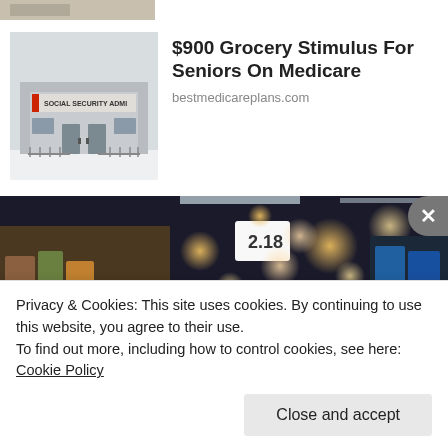[Figure (photo): Partial view of an image at top of page, partially cropped]
[Figure (photo): Social Security Administration building exterior photo]
$900 Grocery Stimulus For Seniors On Medicare
bestmedicareplans.com
[Figure (photo): Woman shopping in a grocery store aisle with shelves and bokeh lights in background]
Privacy & Cookies: This site uses cookies. By continuing to use this website, you agree to their use.
To find out more, including how to control cookies, see here: Cookie Policy
Close and accept